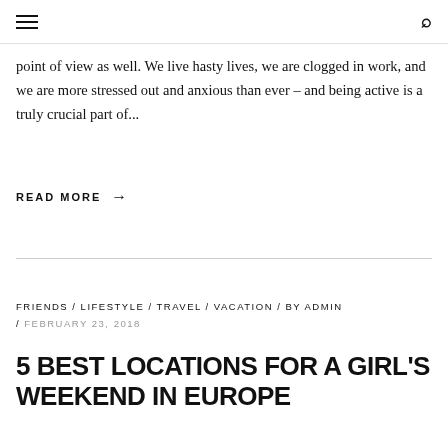≡  🔍
point of view as well. We live hasty lives, we are clogged in work, and we are more stressed out and anxious than ever – and being active is a truly crucial part of...
READ MORE →
FRIENDS / LIFESTYLE / TRAVEL / VACATION / BY ADMIN / FEBRUARY 23, 2018
5 BEST LOCATIONS FOR A GIRL'S WEEKEND IN EUROPE